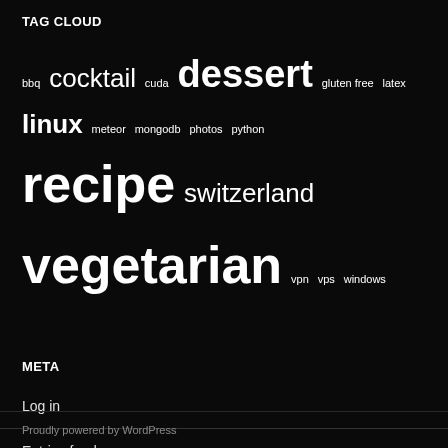TAG CLOUD
bbq cocktail cuda dessert gluten free latex linux meteor mongodb photos python recipe switzerland vegetarian vpn vps windows
META
Log in
Entries feed
Comments feed
WordPress.org
Proudly powered by WordPress